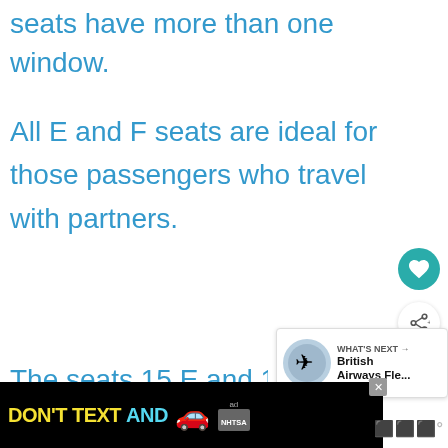seats have more than one window.
All E and F seats are ideal for those passengers who travel with partners.
The seats 15 E and 15F hav
[Figure (screenshot): WHAT'S NEXT panel showing British Airways Fle... with airplane image thumbnail]
[Figure (screenshot): Heart/favorite button (teal circle with heart icon)]
[Figure (screenshot): Share button (white circle with share icon and plus)]
[Figure (advertisement): DON'T TEXT AND [car emoji] ad banner with NHTSA branding on black background]